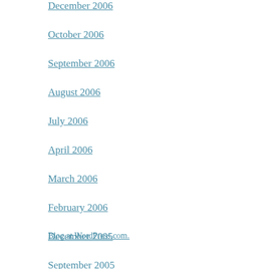December 2006
October 2006
September 2006
August 2006
July 2006
April 2006
March 2006
February 2006
December 2005
September 2005
Blog at WordPress.com.